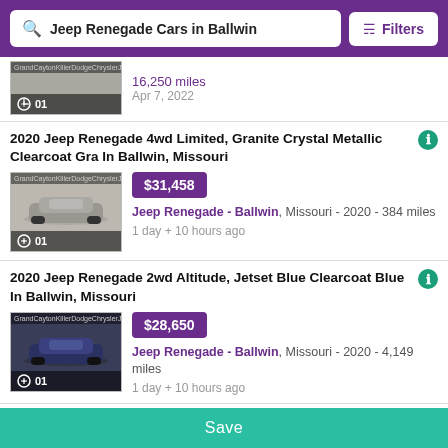Jeep Renegade Cars in Ballwin | Filters
16,250 miles
Apr 7, 2022
2020 Jeep Renegade 4wd Limited, Granite Crystal Metallic Clearcoat Gra In Ballwin, Missouri
$31,458
Jeep Renegade - Ballwin, Missouri - 2020 - 384 miles
1 day + 10 hours ago
2020 Jeep Renegade 2wd Altitude, Jetset Blue Clearcoat Blue In Ballwin, Missouri
$28,650
Jeep Renegade - Ballwin, Missouri - 2020 - 4,149 miles
1 day + 10 hours ago
Save